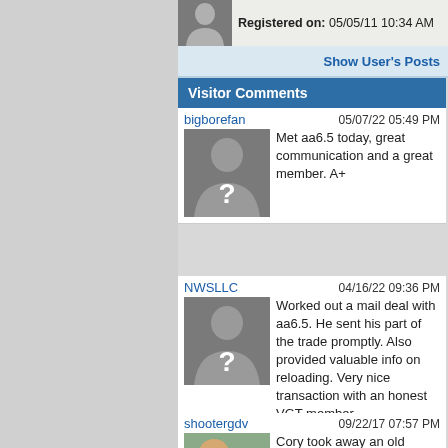Registered on: 05/05/11 10:34 AM
Show User's Posts
Visitor Comments
About Me
bigborefan
05/07/22 05:49 PM
Met aa6.5 today, great communication and a great member. A+
NWSLLC
04/16/22 09:36 PM
Worked out a mail deal with aa6.5. He sent his part of the trade promptly. Also provided valuable info on reloading. Very nice transaction with an honest VGT member.
shootergdv
09/22/17 07:57 PM
Cory took away an old shotgun and left some money behind ! Nice to do
Location:
What is your City or County location?:
Show Shoutbox? (yes, no):
How did you learn of VaGunTrader (friend, gun show, internet search, facebook, etc):
Contact Info
UBB Buddies
(User...
POLARR